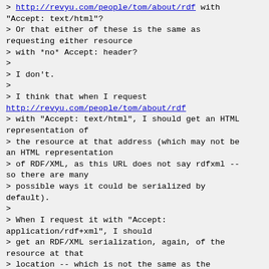> http://revyu.com/people/tom/about/rdf with "Accept: text/html"?
> Or that either of these is the same as requesting either resource
> with *no* Accept: header?
>
> I don't.
>
> I think that when I request
http://revyu.com/people/tom/about/rdf
> with "Accept: text/html", I should get an HTML representation of
> the resource at that address (which may not be an HTML representation
> of RDF/XML, as this URL does not say rdfxml -- so there are many
> possible ways it could be serialized by default).
>
> When I request it with "Accept: application/rdf+xml", I should
> get an RDF/XML serialization, again, of the resource at that
> location -- which is not the same as the resource of that name!
>
> If I just want the canonical resource with the name
> http://revyu.com/people/tom/about/rdf ?  I